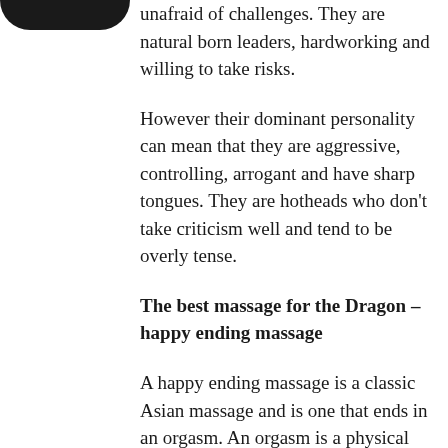[Figure (illustration): Partial dark circular shape at top-left, likely a zodiac or animal icon (Dragon symbol fragment)]
unafraid of challenges. They are natural born leaders, hardworking and willing to take risks.
However their dominant personality can mean that they are aggressive, controlling, arrogant and have sharp tongues. They are hotheads who don't take criticism well and tend to be overly tense.
The best massage for the Dragon – happy ending massage
A happy ending massage is a classic Asian massage and is one that ends in an orgasm. An orgasm is a physical manifestation of tension and often one, you're left